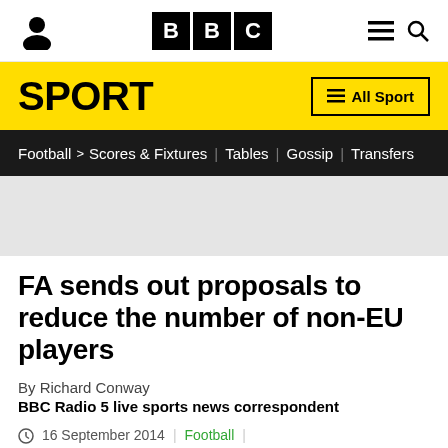BBC Sport
SPORT
Football > Scores & Fixtures | Tables | Gossip | Transfers
[Figure (photo): Grey placeholder image area]
FA sends out proposals to reduce the number of non-EU players
By Richard Conway
BBC Radio 5 live sports news correspondent
16 September 2014 | Football